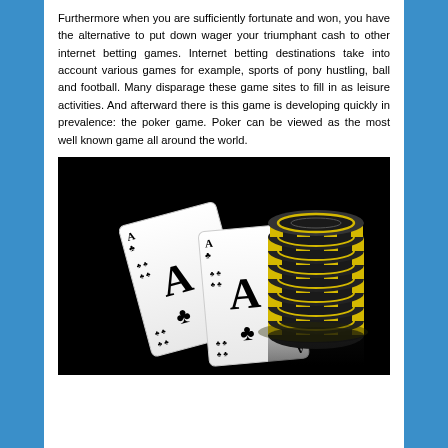Furthermore when you are sufficiently fortunate and won, you have the alternative to put down wager your triumphant cash to other internet betting games. Internet betting destinations take into account various games for example, sports of pony hustling, ball and football. Many disparage these game sites to fill in as leisure activities. And afterward there is this game is developing quickly in prevalence: the poker game. Poker can be viewed as the most well known game all around the world.
[Figure (photo): A dark background image showing two Ace playing cards (with club suit symbols) overlapping each other, with a tall stack of black and yellow casino chips to the right, reflected on a glossy black surface.]